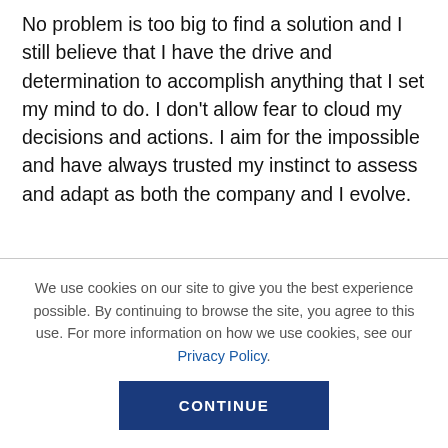No problem is too big to find a solution and I still believe that I have the drive and determination to accomplish anything that I set my mind to do. I don't allow fear to cloud my decisions and actions. I aim for the impossible and have always trusted my instinct to assess and adapt as both the company and I evolve.
We are blessed that very prominent leaders in business and entertainment read this column. Is there a person in the world with whom you would
We use cookies on our site to give you the best experience possible. By continuing to browse the site, you agree to this use. For more information on how we use cookies, see our Privacy Policy.
CONTINUE